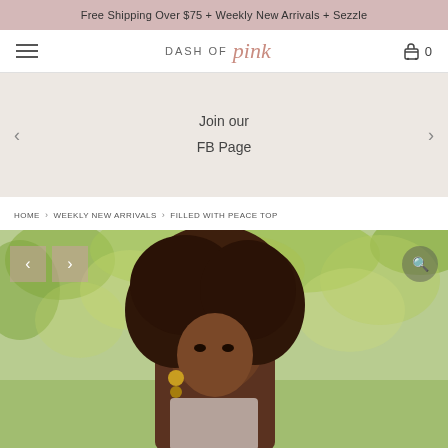Free Shipping Over $75 + Weekly New Arrivals + Sezzle
[Figure (logo): Dash of Pink logo with hamburger menu and cart icon showing 0 items]
[Figure (infographic): Promotional slider banner with left/right arrows showing 'Join our FB Page']
Join our FB Page
HOME > WEEKLY NEW ARRIVALS > FILLED WITH PEACE TOP
[Figure (photo): Product photo of a model with natural afro hair, wearing the Filled With Peace Top, photographed outdoors with green trees in background]